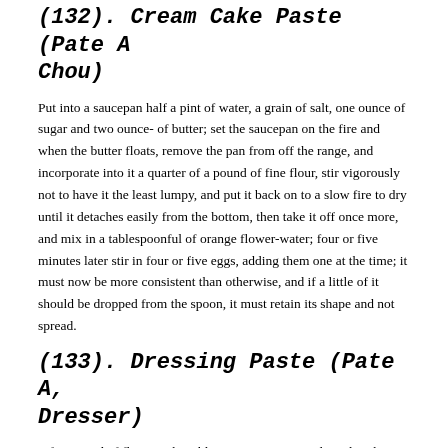(132). Cream Cake Paste (Pate A Chou)
Put into a saucepan half a pint of water, a grain of salt, one ounce of sugar and two ounce- of butter; set the saucepan on the fire and when the butter floats, remove the pan from off the range, and incorporate into it a quarter of a pound of fine flour, stir vigorously not to have it the least lumpy, and put it back on to a slow fire to dry until it detaches easily from the bottom, then take it off once more, and mix in a tablespoonful of orange flower-water; four or five minutes later stir in four or five eggs, adding them one at the time; it must now be more consistent than otherwise, and if a little of it should be dropped from the spoon, it must retain its shape and not spread.
(133). Dressing Paste (Pate A, Dresser)
Sift a pound of flour on the table, arrange it in a circle and in the center lay half an ounce of salt, four ounces of butter and a gill of water; mix thoroughly, working the flour in as fast as possible. When the paste